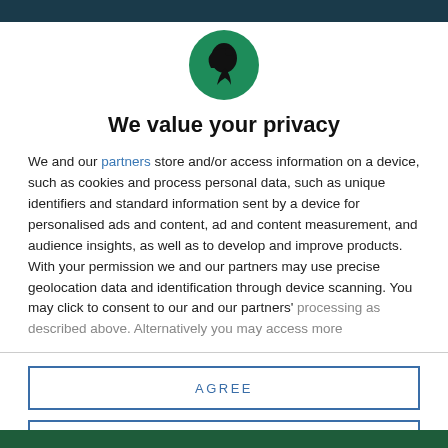[Figure (logo): Circular green logo with a black silhouette of a figure (bird or person in profile) on a dark green background]
We value your privacy
We and our partners store and/or access information on a device, such as cookies and process personal data, such as unique identifiers and standard information sent by a device for personalised ads and content, ad and content measurement, and audience insights, as well as to develop and improve products. With your permission we and our partners may use precise geolocation data and identification through device scanning. You may click to consent to our and our partners' processing as described above. Alternatively you may access more
AGREE
MORE OPTIONS